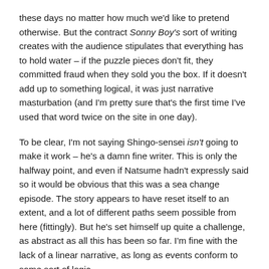these days no matter how much we'd like to pretend otherwise. But the contract Sonny Boy's sort of writing creates with the audience stipulates that everything has to hold water – if the puzzle pieces don't fit, they committed fraud when they sold you the box. If it doesn't add up to something logical, it was just narrative masturbation (and I'm pretty sure that's the first time I've used that word twice on the site in one day).
To be clear, I'm not saying Shingo-sensei isn't going to make it work – he's a damn fine writer. This is only the halfway point, and even if Natsume hadn't expressly said so it would be obvious that this was a sea change episode. The story appears to have reset itself to an extent, and a lot of different paths seem possible from here (fittingly). But he's set himself up quite a challenge, as abstract as all this has been so far. I'm fine with the lack of a linear narrative, as long as events conform to some sort of logic.
What we know (which is a lot less than what we have to guess at) is that Nagara and his allies have been jumping from one this world